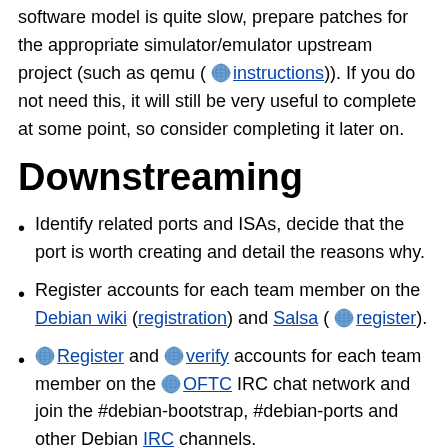software model is quite slow, prepare patches for the appropriate simulator/emulator upstream project (such as qemu ( [globe] instructions)). If you do not need this, it will still be very useful to complete at some point, so consider completing it later on.
Downstreaming
Identify related ports and ISAs, decide that the port is worth creating and detail the reasons why.
Register accounts for each team member on the Debian wiki (registration) and Salsa ( [globe] register).
[globe] Register and [globe] verify accounts for each team member on the [globe] OFTC IRC chat network and join the #debian-bootstrap, #debian-ports and other Debian IRC channels.
Discuss the port with the community. Please send an email to the [globe] debian-devel mailing list. If the